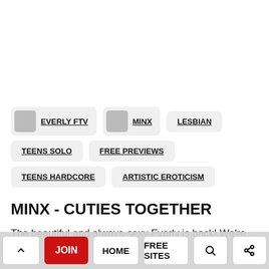EVERLY FTV
MINX
LESBIAN
TEENS SOLO
FREE PREVIEWS
TEENS HARDCORE
ARTISTIC EROTICISM
MINX - CUTIES TOGETHER
The beautiful and always-sexy Everly is back! We're re... a... as she relaxes on the couch, spreading her legs and...
^ JOIN HOME FREE SITES search share